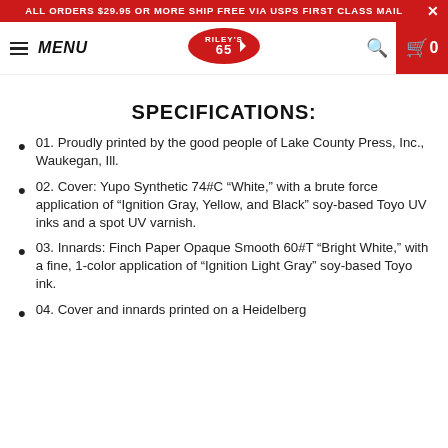ALL ORDERS $29.95 OR MORE SHIP FREE VIA USPS FIRST CLASS MAIL
MENU | Riley's 65 logo | Search | Cart 0
SPECIFICATIONS:
01. Proudly printed by the good people of Lake County Press, Inc., Waukegan, Ill.
02. Cover: Yupo Synthetic 74#C “White,” with a brute force application of “Ignition Gray, Yellow, and Black” soy-based Toyo UV inks and a spot UV varnish.
03. Innards: Finch Paper Opaque Smooth 60#T “Bright White,” with a fine, 1-color application of “Ignition Light Gray” soy-based Toyo ink.
04. Cover and innards printed on a Heidelberg